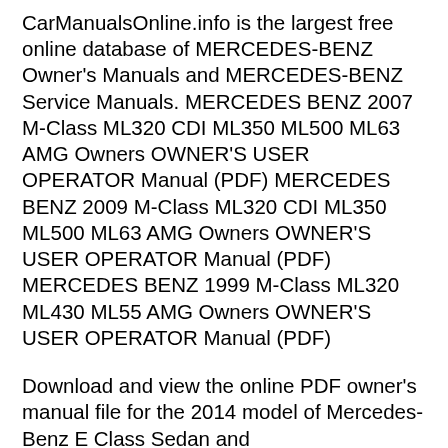CarManualsOnline.info is the largest free online database of MERCEDES-BENZ Owner's Manuals and MERCEDES-BENZ Service Manuals. MERCEDES BENZ 2007 M-Class ML320 CDI ML350 ML500 ML63 AMG Owners OWNER'S USER OPERATOR Manual (PDF) MERCEDES BENZ 2009 M-Class ML320 CDI ML350 ML500 ML63 AMG Owners OWNER'S USER OPERATOR Manual (PDF) MERCEDES BENZ 1999 M-Class ML320 ML430 ML55 AMG Owners OWNER'S USER OPERATOR Manual (PDF)
Download and view the online PDF owner's manual file for the 2014 model of Mercedes-Benz E Class Sedan and